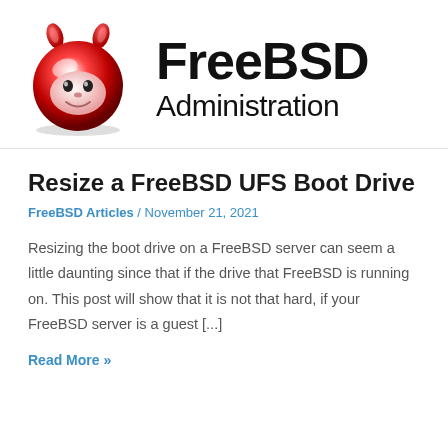[Figure (logo): FreeBSD Administration logo with red devil mascot head and text 'FreeBSD Administration']
Resize a FreeBSD UFS Boot Drive
FreeBSD Articles / November 21, 2021
Resizing the boot drive on a FreeBSD server can seem a little daunting since that if the drive that FreeBSD is running on. This post will show that it is not that hard, if your FreeBSD server is a guest [...]
Read More »